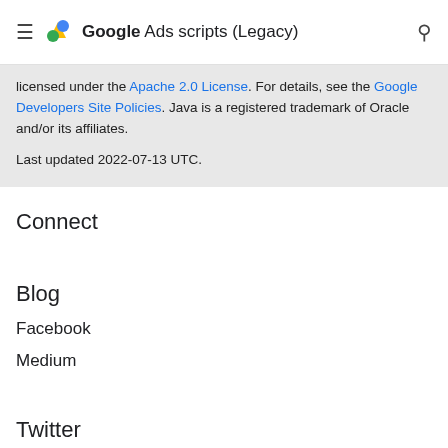Google Ads scripts (Legacy)
licensed under the Apache 2.0 License. For details, see the Google Developers Site Policies. Java is a registered trademark of Oracle and/or its affiliates.

Last updated 2022-07-13 UTC.
Connect
Blog
Facebook
Medium
Twitter
YouTube